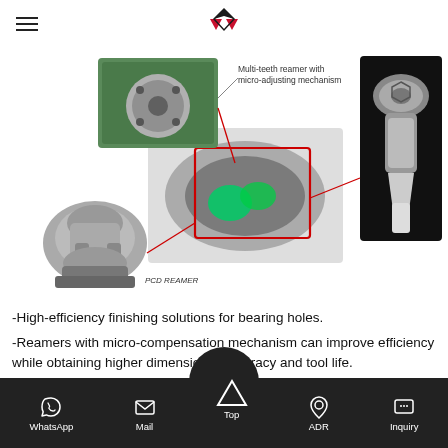Navigation header with hamburger menu and company logo
[Figure (engineering-diagram): Composite engineering diagram showing PCD Reamer (bottom-left, 3D rendering of cutting tool), Multi-teeth reamer with micro-adjusting mechanism (top-center label, with photo of round metal component), a central cutaway/cross-section diagram of an automotive component with highlighted internal areas (green/teal) and red outline callout, and a 3D rendering of a toolholder/reamer assembly on black background (right side). Red lines connect the callout annotations to the respective components.]
-High-efficiency finishing solutions for bearing holes.
-Reamers with micro-compensation mechanism can improve efficiency while obtaining higher dimensional accuracy and tool life.
WhatsApp  Mail  Top  ADR  Inquiry